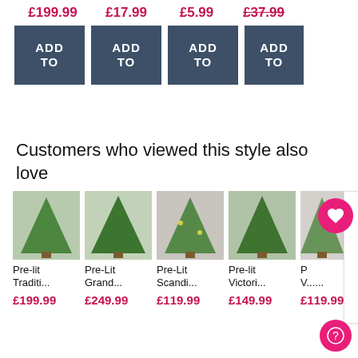£199.99  £17.99  £5.99  £37.99
[Figure (screenshot): Four 'ADD TO' buttons in dark slate blue color arranged horizontally]
Customers who viewed this style also love
[Figure (screenshot): Product carousel showing 5 Christmas trees: Pre-lit Traditi..., Pre-Lit Grand..., Pre-Lit Scandi..., Pre-lit Victori..., P V... with prices £199.99, £249.99, £119.99, £149.99, £119.99]
Pre-lit Traditi...
£199.99
Pre-Lit Grand...
£249.99
Pre-Lit Scandi...
£119.99
Pre-lit Victori...
£149.99
P V......
£119.99